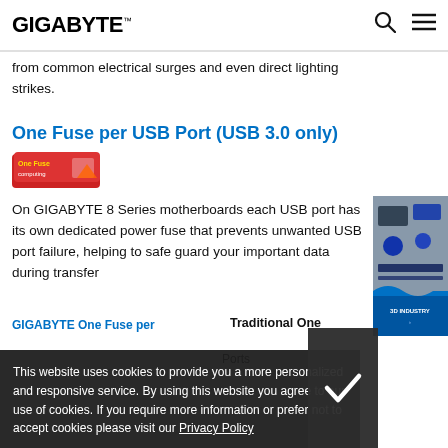GIGABYTE
from common electrical surges and even direct lighting strikes.
One Fuse per USB Port (USB 3.0 only)
[Figure (logo): GIGABYTE One Fuse computing logo badge]
On GIGABYTE 8 Series motherboards each USB port has its own dedicated power fuse that prevents unwanted USB port failure, helping to safe guard your important data during transfer
[Figure (photo): 3D INDUSTRY sidebar panel with motherboard image]
Traditional One
GIGABYTE One Fuse per USB Port (One Fuse per...Ports
This website uses cookies to provide you a more personalized and responsive service. By using this website you agree to our use of cookies. If you require more information or prefer not to accept cookies please visit our Privacy Policy